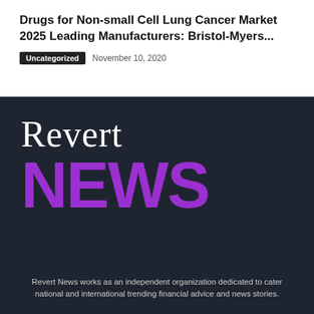Drugs for Non-small Cell Lung Cancer Market 2025 Leading Manufacturers: Bristol-Myers...
Uncategorized   November 10, 2020
[Figure (logo): Revert News logo — 'Revert' in white serif font and 'NEWS' in large bold purple text on a dark navy background]
Revert News works as an independent organization dedicated to cater national and international trending financial advice and news stories.